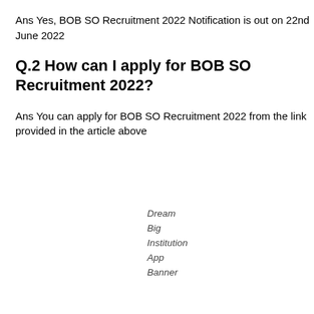Ans Yes, BOB SO Recruitment 2022 Notification is out on 22nd June 2022
Q.2 How can I apply for BOB SO Recruitment 2022?
Ans You can apply for BOB SO Recruitment 2022 from the link provided in the article above
[Figure (other): Dream Big Institution App Banner placeholder text]